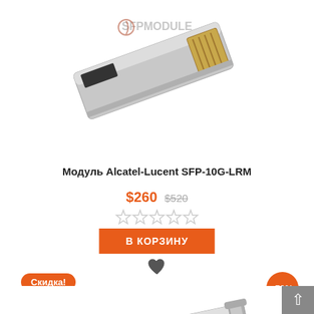[Figure (photo): SFP module hardware product photo with SFPMODULE watermark, top portion cropped, silver metallic connector with gold contacts visible]
Модуль Alcatel-Lucent SFP-10G-LRM
$260 $520
[Figure (other): Five empty/outline star rating icons]
В КОРЗИНУ
[Figure (other): Heart/favorite icon]
Скидка!
-50%
[Figure (photo): Second SFP module hardware product photo with SFPMODULE watermark, silver metallic SFP transceiver module with bail clasp visible]